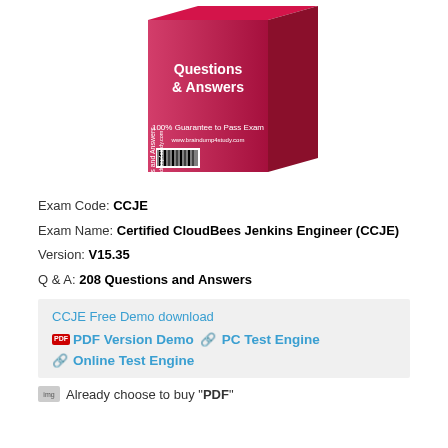[Figure (illustration): A red/pink product box with text 'Questions & Answers' and '100% Guarantee to Pass Exam' with a barcode on the front, shown at an angle.]
Exam Code: CCJE
Exam Name: Certified CloudBees Jenkins Engineer (CCJE)
Version: V15.35
Q & A: 208 Questions and Answers
CCJE Free Demo download
PDF Version Demo   PC Test Engine
Online Test Engine
Already choose to buy "PDF"